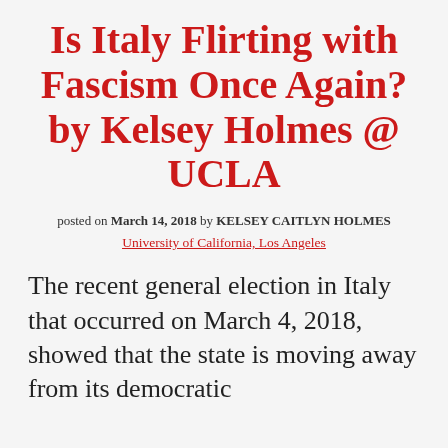Is Italy Flirting with Fascism Once Again? by Kelsey Holmes @ UCLA
posted on March 14, 2018 by KELSEY CAITLYN HOLMES
University of California, Los Angeles
The recent general election in Italy that occurred on March 4, 2018, showed that the state is moving away from its democratic